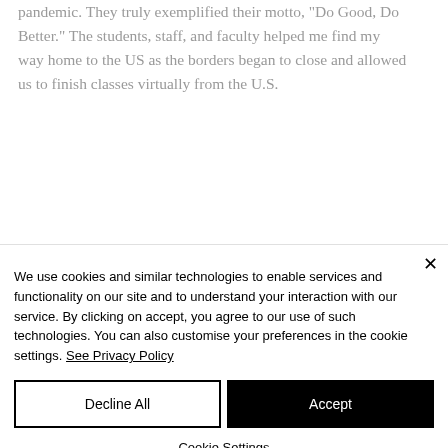pandemic. They truly exemplified their motto, "Do Good, Do Better." The students, staff, and faculty helped me find my way home to the US as the borders began to close and allowed us to finish classes virtually from the U.S.
We use cookies and similar technologies to enable services and functionality on our site and to understand your interaction with our service. By clicking on accept, you agree to our use of such technologies. You can also customise your preferences in the cookie settings. See Privacy Policy
Decline All
Accept
Cookie Settings